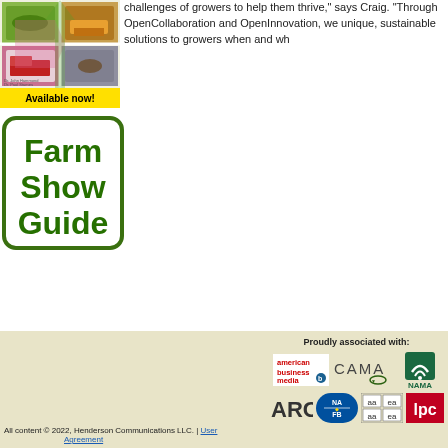[Figure (illustration): Quad-image collage with farm and agriculture scenes in green, pink, purple, and yellow quadrants with a crosshair overlay]
Available now!
challenges of growers to help them thrive," says Craig. "Through OpenCollaboration and OpenInnovation, we unique, sustainable solutions to growers when and wh
[Figure (illustration): Farm Show Guide logo in a rounded green-bordered box with bold green text]
Proudly associated with: [logos: american business media, CAMA, NAMA, ARC, NAFB, AAEA, lpc] | All content © 2022, Henderson Communications LLC. | User Agreement